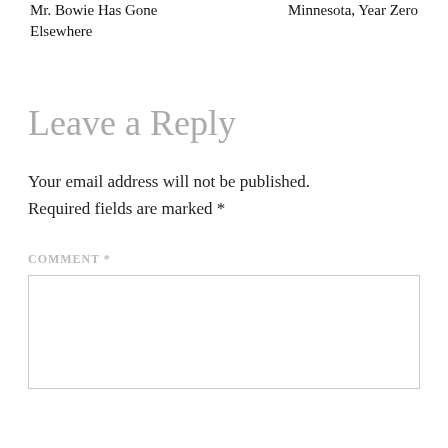Mr. Bowie Has Gone Elsewhere
Minnesota, Year Zero
Leave a Reply
Your email address will not be published. Required fields are marked *
COMMENT *
[Figure (other): Empty comment text area input box]